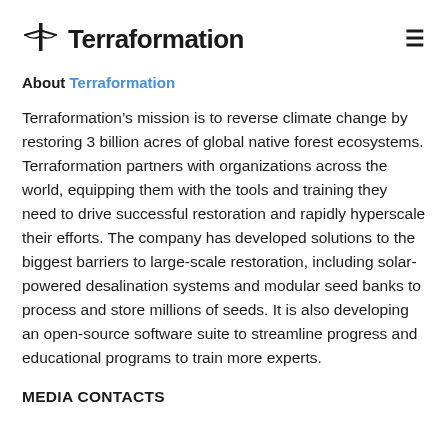Terraformation
About Terraformation
Terraformation’s mission is to reverse climate change by restoring 3 billion acres of global native forest ecosystems. Terraformation partners with organizations across the world, equipping them with the tools and training they need to drive successful restoration and rapidly hyperscale their efforts. The company has developed solutions to the biggest barriers to large-scale restoration, including solar-powered desalination systems and modular seed banks to process and store millions of seeds. It is also developing an open-source software suite to streamline progress and educational programs to train more experts.
MEDIA CONTACTS